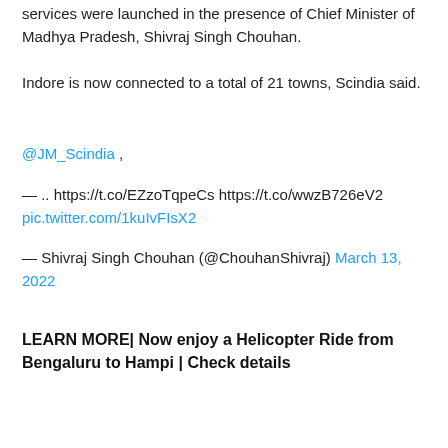services were launched in the presence of Chief Minister of Madhya Pradesh, Shivraj Singh Chouhan.
Indore is now connected to a total of 21 towns, Scindia said.
@JM_Scindia ,
— .. https://t.co/EZzoTqpeCs https://t.co/wwzB726eV2 pic.twitter.com/1kuIvFIsX2
— Shivraj Singh Chouhan (@ChouhanShivraj) March 13, 2022
LEARN MORE| Now enjoy a Helicopter Ride from Bengaluru to Hampi | Check details